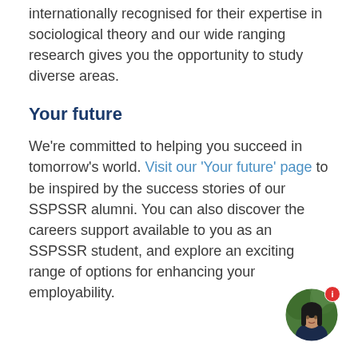internationally recognised for their expertise in sociological theory and our wide ranging research gives you the opportunity to study diverse areas.
Your future
We're committed to helping you succeed in tomorrow's world. Visit our 'Your future' page to be inspired by the success stories of our SSPSSR alumni. You can also discover the careers support available to you as an SSPSSR student, and explore an exciting range of options for enhancing your employability.
[Figure (photo): Circular avatar photo of a young woman with dark hair, wearing a dark jacket, with a red notification badge showing 'i' in the top right corner.]